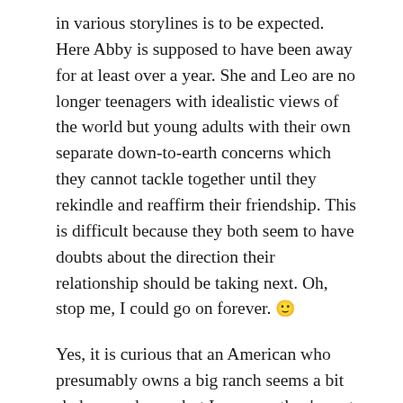in various storylines is to be expected. Here Abby is supposed to have been away for at least over a year. She and Leo are no longer teenagers with idealistic views of the world but young adults with their own separate down-to-earth concerns which they cannot tackle together until they rekindle and reaffirm their friendship. This is difficult because they both seem to have doubts about the direction their relationship should be taking next. Oh, stop me, I could go on forever. 🙂
Yes, it is curious that an American who presumably owns a big ranch seems a bit shaky on a horse, but I suppose they're not all cowboys over there...